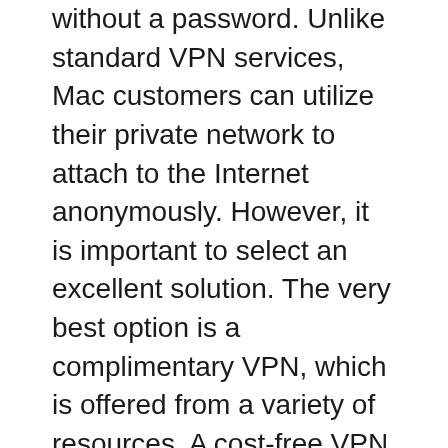without a password. Unlike standard VPN services, Mac customers can utilize their private network to attach to the Internet anonymously. However, it is important to select an excellent solution. The very best option is a complimentary VPN, which is offered from a variety of resources. A cost-free VPN will certainly be more reliable and much faster than a paid solution. Additionally, a free VPN will save you money as well as time. best website unblocker
VPNs are a fantastic means to access a public network from a personal one. It will additionally offer you a safer link when you're linked to a public network. These solutions are perfect for individuals that require to link to their work network